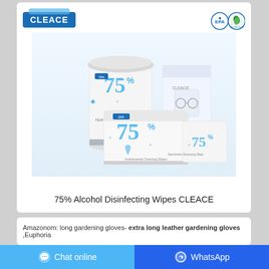[Figure (photo): CLEACE 75% Alcohol Disinfecting Wipes product lineup — cylindrical canister, box pack, flat pouch, and individual sachet, all white with blue 75% markings. EPA and Environmental Protection logos in top-right corner. CLEACE brand logo top-left.]
75% Alcohol Disinfecting Wipes CLEACE
Amazonom: long gardening gloves- extra long leather gardening gloves ,Euphoria
Chat online
WhatsApp